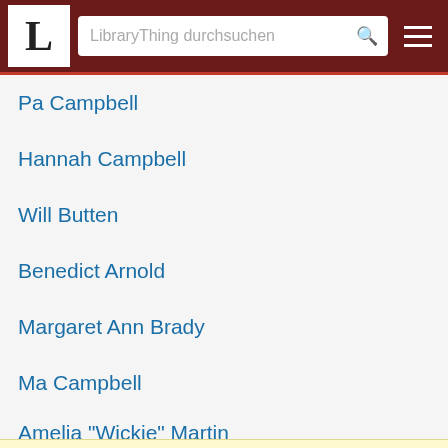LibraryThing durchsuchen
Pa Campbell
Hannah Campbell
Will Butten
Benedict Arnold
Margaret Ann Brady
Ma Campbell
Amelia "Wickie" Martin
Diese Seite verwendet Cookies für unsere Dienste, zur Verbesserung unserer Leistungen, für Analytik und (falls Sie nicht eingeloggt sind) für Werbung. Indem Sie LibraryThing nutzen, erklären Sie dass Sie unsere Nutzungsbedingungen und Datenschutzrichtlinie gelesen und verstanden haben. Die Nutzung unserer Webseite und Dienste unterliegt diesen Richtlinien und Geschäftsbedingungen.